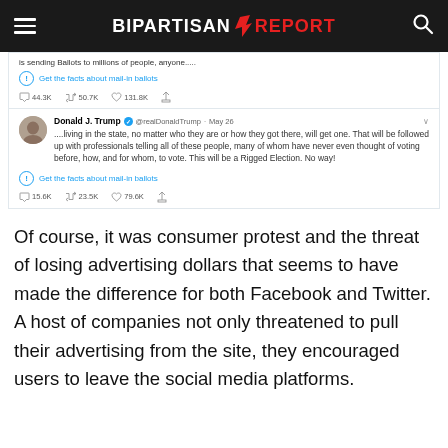BIPARTISAN REPORT
[Figure (screenshot): Twitter/X screenshot showing Donald J. Trump tweet from May 26 about mail-in ballots, with Twitter fact-check label 'Get the facts about mail-in ballots'. Top partial tweet shows '...is sending Ballots to millions of people, anyone.....' with 44.3K replies, 50.7K retweets, 131.8K likes. Second tweet reads '....living in the state, no matter who they are or how they got there, will get one. That will be followed up with professionals telling all of these people, many of whom have never even thought of voting before, how, and for whom, to vote. This will be a Rigged Election. No way!' with 15.6K replies, 23.5K retweets, 79.6K likes.]
Of course, it was consumer protest and the threat of losing advertising dollars that seems to have made the difference for both Facebook and Twitter. A host of companies not only threatened to pull their advertising from the site, they encouraged users to leave the social media platforms.